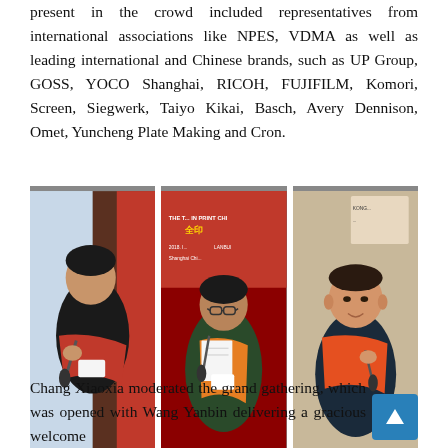present in the crowd included representatives from international associations like NPES, VDMA as well as leading international and Chinese brands, such as UP Group, GOSS, YOCO Shanghai, RICOH, FUJIFILM, Komori, Screen, Siegwerk, Taiyo Kikai, Basch, Avery Dennison, Omet, Yuncheng Plate Making and Cron.
[Figure (photo): Three photos side by side: left - Asian woman speaking into microphone wearing red scarf; center - older Asian woman speaking at microphone holding papers, with event banner behind her; right - Western man speaking into microphone wearing red scarf]
Chang Xiaoxia moderated the grand gathering, which was opened with Wang Yanbin delivering a gracious welcome